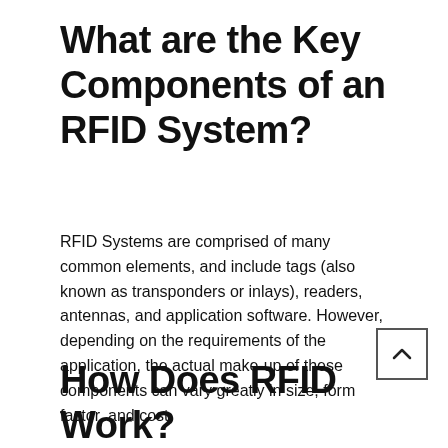What are the Key Components of an RFID System?
RFID Systems are comprised of many common elements, and include tags (also known as transponders or inlays), readers, antennas, and application software. However, depending on the requirements of the application, the actual make-up of these components can vary greatly in size, form factor, and cost.
How Does RFID Work?